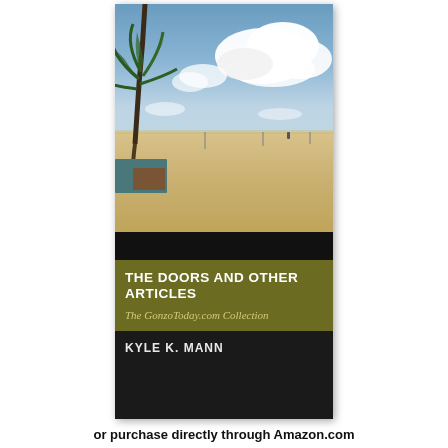[Figure (photo): Book cover of 'The Doors and Other Articles: The GonzoToday.com Collection' by Kyle K. Mann. The cover shows a beach scene with palm trees on the left, a wide sandy beach, and a dramatic sky with large white cumulus clouds. Below the photo is a black band, then an olive/army green band with the book title in white bold text and subtitle in yellow-green italic text, followed by a dark band with the author's name in white text.]
or purchase directly through Amazon.com